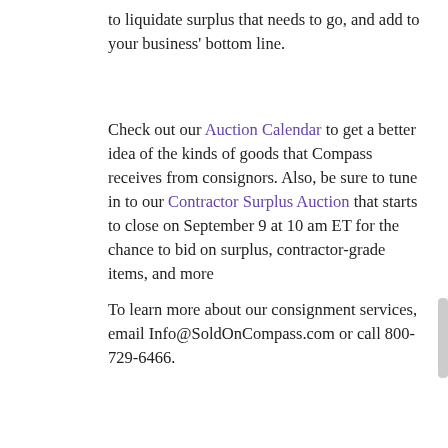to liquidate surplus that needs to go, and add to your business' bottom line.
Check out our Auction Calendar to get a better idea of the kinds of goods that Compass receives from consignors. Also, be sure to tune in to our Contractor Surplus Auction that starts to close on September 9 at 10 am ET for the chance to bid on surplus, contractor-grade items, and more
To learn more about our consignment services, email Info@SoldOnCompass.com or call 800-729-6466.